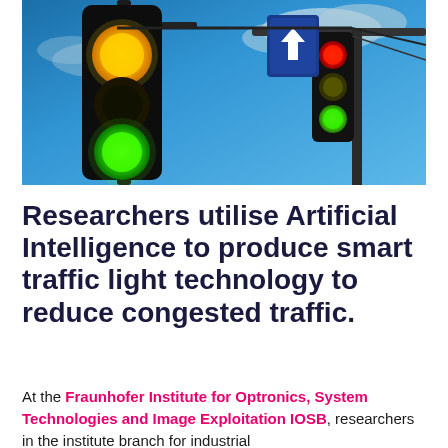[Figure (photo): Close-up photograph of traffic lights against a blue sky. On the left, a traffic light pole shows yellow/amber light glowing on top and green light glowing on the bottom. On the right, another traffic light shows red on top, yellow in middle, and green on bottom. A blue directional road sign with a white upward arrow is visible in the upper right.]
Researchers utilise Artificial Intelligence to produce smart traffic light technology to reduce congested traffic.
At the Fraunhofer Institute for Optronics, System Technologies and Image Exploitation IOSB, researchers in the institute branch for industrial